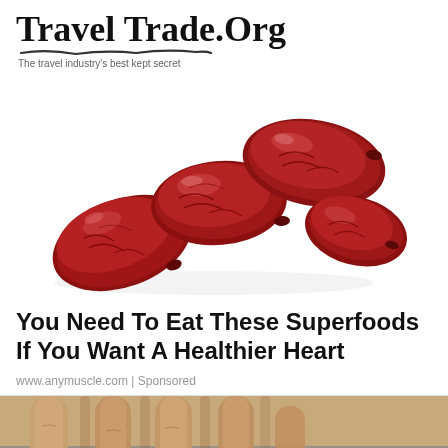Travel Trade.Org
The travel industry's best kept secret
[Figure (photo): Close-up photo of several glossy dark red dried dates (fruit) grouped together on a white background]
You Need To Eat These Superfoods If You Want A Healthier Heart
www.anymuscle.com | Sponsored
[Figure (photo): Close-up photo of a person's hands touching or scratching their head/scalp with grey hair visible]